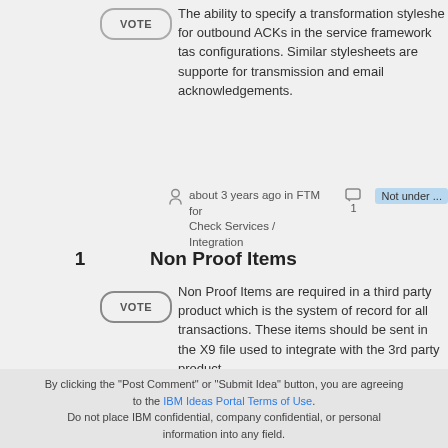The ability to specify a transformation stylesheet for outbound ACKs in the service framework task configurations. Similar stylesheets are supported for transmission and email acknowledgements.
about 3 years ago in FTM for Check Services / Integration   1   Not under ...
1   Non Proof Items
Non Proof Items are required in a third party product which is the system of record for all transactions. These items should be sent in the X9 file used to integrate with the 3rd party product.
over 3 years ago in FTM for Check Services / Integration   0   Not under ...
By clicking the "Post Comment" or "Submit Idea" button, you are agreeing to the IBM Ideas Portal Terms of Use. Do not place IBM confidential, company confidential, or personal information into any field.